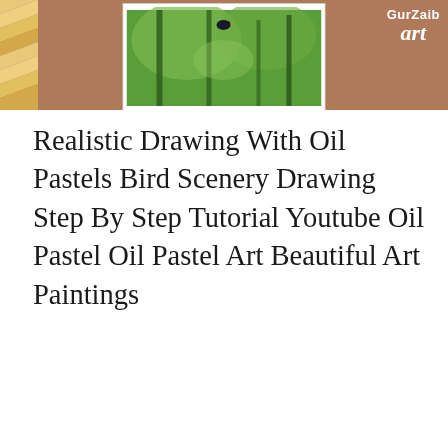[Figure (illustration): Thumbnail image showing an oil pastel bird scenery artwork in a white-bordered frame on a brown/tan background, with a colorful zigzag/triangle pattern on the left edge and a 'GurZaib Art' logo in the top right corner.]
Realistic Drawing With Oil Pastels Bird Scenery Drawing Step By Step Tutorial Youtube Oil Pastel Oil Pastel Art Beautiful Art Paintings